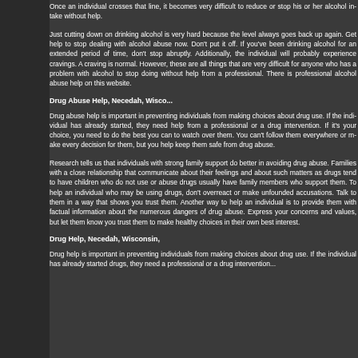Once an individual crosses that line, it becomes very difficult to reduce or stop his or her alcohol intake without help.
Just cutting down on drinking alcohol is very hard because the level always goes back up again. Get help to stop dealing with alcohol abuse now. Don't put it off. If you've been drinking alcohol for an extended period of time, don't stop abruptly. Additionally, the individual will probably experience cravings. A craving is normal. However, these are all things that are very difficult for anyone who has a problem with alcohol to stop doing without help from a professional. There is professional alcohol abuse help on this website.
Drug Abuse Help, Necedah, Wisconsin,
Drug abuse help is important in preventing individuals from making choices about drug use. If the individual has already started drugs, they need help from a professional or a drug intervention. If it's your choice, you need to do the best you can to watch over them. You can't follow them everywhere or make every decision for them, but you can help keep them safe from drug abuse.
Research tells us that individuals with strong family support do better in avoiding drug abuse. Families with a close relationship that communicate about their feelings and about such matters as drugs tend to have children who do not use or abuse drugs usually have family members who support them. To help an individual who may be using drugs, don't overreact or make unfounded accusations. Talk to them in a way that shows you trust them. Another way to help an individual is to provide them with factual information about the numerous dangers of drug abuse. Express your concerns and values, but let them know you trust them to make healthy choices in their own best interest.
Drug Help, Necedah, Wisconsin,
Drug help is important in preventing individuals from making choices about drug use. If the individual has already started drugs, they need a professional or a drug intervention...